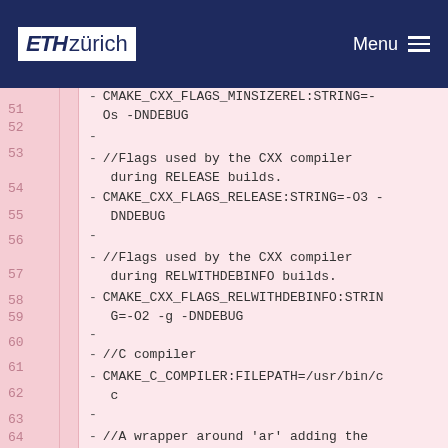ETH zürich  Menu
51 - CMAKE_CXX_FLAGS_MINSIZEREL:STRING=-Os -DNDEBUG
52 -
53 - //Flags used by the CXX compiler during RELEASE builds.
54 - CMAKE_CXX_FLAGS_RELEASE:STRING=-O3 -DNDEBUG
55 -
56 - //Flags used by the CXX compiler during RELWITHDEBINFO builds.
57 - CMAKE_CXX_FLAGS_RELWITHDEBINFO:STRING=-O2 -g -DNDEBUG
58 -
59 - //C compiler
60 - CMAKE_C_COMPILER:FILEPATH=/usr/bin/cc
61 -
62 - //A wrapper around 'ar' adding the appropriate '--plugin' option
63 - // for the GCC compiler
64 - CMAKE_C_COMPILER_AR:FILEPATH=/usr/bi